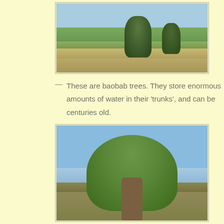[Figure (photo): Wide landscape photograph of baobab trees in an African savannah with tall green grass in the foreground and blue sky above.]
— These are baobab trees. They store enormous amounts of water in their ‘trunks’, and can be centuries old.
[Figure (photo): Close-up photograph of a large baobab tree with a wide spreading canopy of green leaves against a clear blue sky, with its distinctive thick trunk visible.]